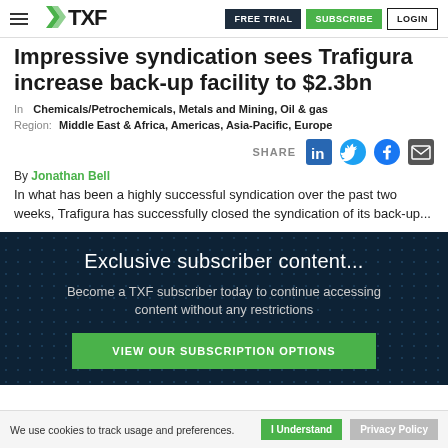TXF — FREE TRIAL | SUBSCRIBE | LOGIN
Impressive syndication sees Trafigura increase back-up facility to $2.3bn
In: Chemicals/Petrochemicals, Metals and Mining, Oil & gas
Region: Middle East & Africa, Americas, Asia-Pacific, Europe
SHARE
By Jonathan Bell
In what has been a highly successful syndication over the past two weeks, Trafigura has successfully closed the syndication of its back-up...
Exclusive subscriber content...
Become a TXF subscriber today to continue accessing content without any restrictions
VIEW OUR SUBSCRIPTION OPTIONS
We use cookies to track usage and preferences. I Understand  Privacy Policy